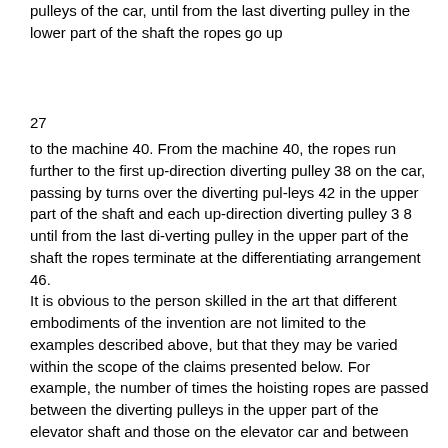pulleys of the car, until from the last diverting pulley in the lower part of the shaft the ropes go up
27
to the machine 40. From the machine 40, the ropes run further to the first up-direction diverting pulley 38 on the car, passing by turns over the diverting pul-leys 42 in the upper part of the shaft and each up-direction diverting pulley 3 8 until from the last di-verting pulley in the upper part of the shaft the ropes terminate at the differentiating arrangement 46.
It is obvious to the person skilled in the art that different embodiments of the invention are not limited to the examples described above, but that they may be varied within the scope of the claims presented below. For example, the number of times the hoisting ropes are passed between the diverting pulleys in the upper part of the elevator shaft and those on the elevator car and between the diverting pulleys in the lower part of the elevator shaft and those on the elevator car is not a very decisive question as regards the ba-sic advantages of the invention, although it is possi-ble to achieve some additional advantages by using multiple